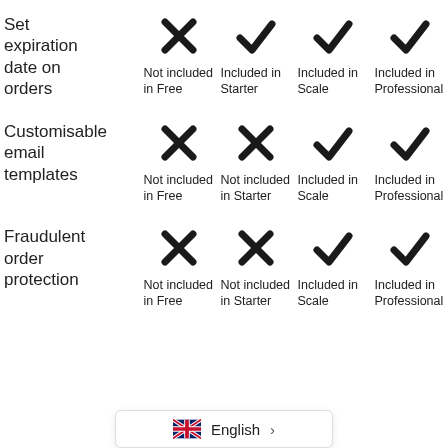| Feature | Free | Starter | Scale | Professional |
| --- | --- | --- | --- | --- |
| Set expiration date on orders | Not included in Free | Included in Starter | Included in Scale | Included in Professional |
| Customisable email templates | Not included in Free | Not included in Starter | Included in Scale | Included in Professional |
| Fraudulent order protection | Not included in Free | Not included in Starter | Included in Scale | Included in Professional |